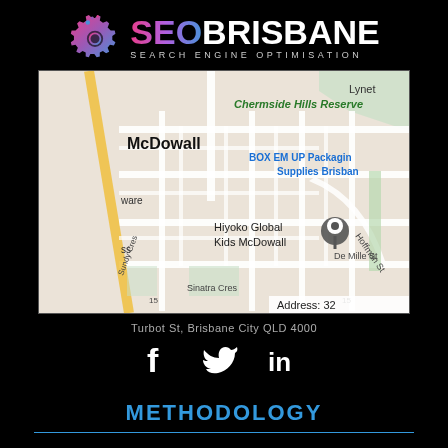[Figure (logo): SEO Brisbane logo with gear icon and text 'SEO BRISBANE SEARCH ENGINE OPTIMISATION']
[Figure (map): Google Maps screenshot showing McDowall area in Brisbane, with pin at Hiyoko Global Kids McDowall, De Mille St area, showing Chermside Hills Reserve, BOX EM UP Packaging Supplies Brisbane, Sinatra Cres, Hoffman St. Bottom right shows 'Address: 32']
Turbot St, Brisbane City QLD 4000
[Figure (illustration): Social media icons: Facebook (f), Twitter (bird), LinkedIn (in) in white on black background]
METHODOLOGY